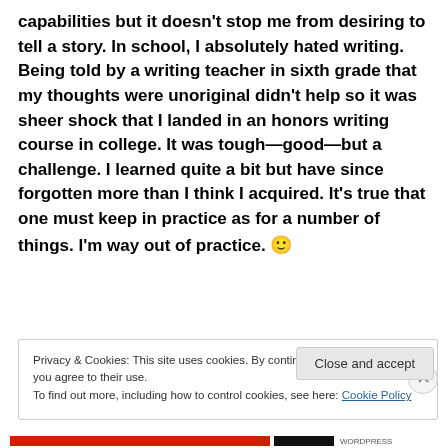capabilities but it doesn't stop me from desiring to tell a story. In school, I absolutely hated writing. Being told by a writing teacher in sixth grade that my thoughts were unoriginal didn't help so it was sheer shock that I landed in an honors writing course in college. It was tough—good—but a challenge. I learned quite a bit but have since forgotten more than I think I acquired. It's true that one must keep in practice as for a number of things. I'm way out of practice. 🙂
Privacy & Cookies: This site uses cookies. By continuing to use this website, you agree to their use.
To find out more, including how to control cookies, see here: Cookie Policy
Close and accept